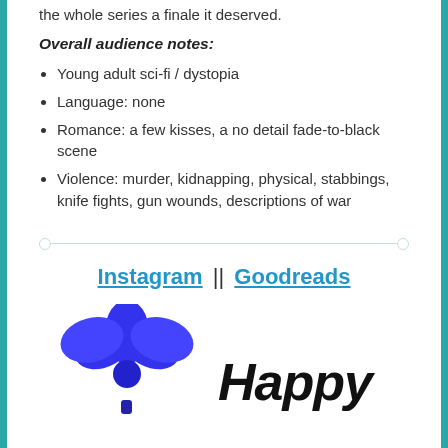the whole series a finale it deserved.
Overall audience notes:
Young adult sci-fi / dystopia
Language: none
Romance: a few kisses, a no detail fade-to-black scene
Violence: murder, kidnapping, physical, stabbings, knife fights, gun wounds, descriptions of war
Instagram || Goodreads
[Figure (illustration): Blue flower illustration and the word 'Happy' in bold italic script at the bottom of the page]